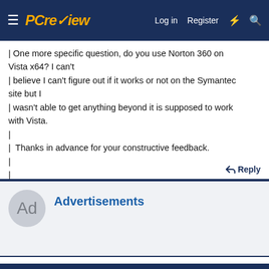PCreview — Log in | Register
| One more specific question, do you use Norton 360 on Vista x64? I can't
| believe I can't figure out if it works or not on the Symantec site but I
| wasn't able to get anything beyond it is supposed to work with Vista.
|
|  Thanks in advance for your constructive feedback.
|
|
|
Reply
Advertisements